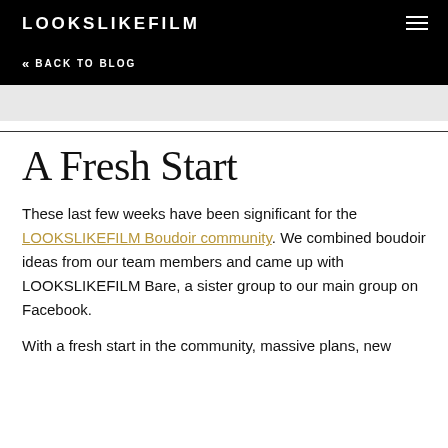LOOKSLIKEFILM
<< BACK TO BLOG
A Fresh Start
These last few weeks have been significant for the LOOKSLIKEFILM Boudoir community. We combined boudoir ideas from our team members and came up with LOOKSLIKEFILM Bare, a sister group to our main group on Facebook.
With a fresh start in the community, massive plans, new